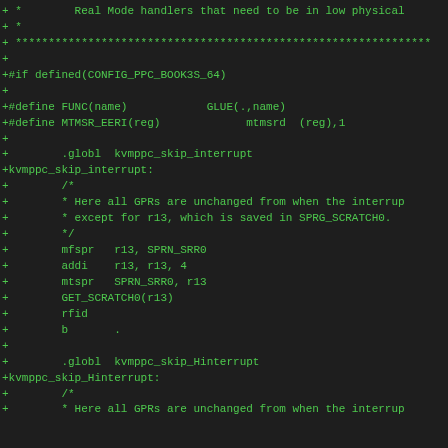[Figure (screenshot): Source code diff showing assembly/C preprocessor code for KVM PPC Book3S 64-bit interrupt handling, including FUNC and MTMSR_EERI macro definitions, kvmppc_skip_interrupt and kvmppc_skip_Hinterrupt labels with associated assembly instructions.]